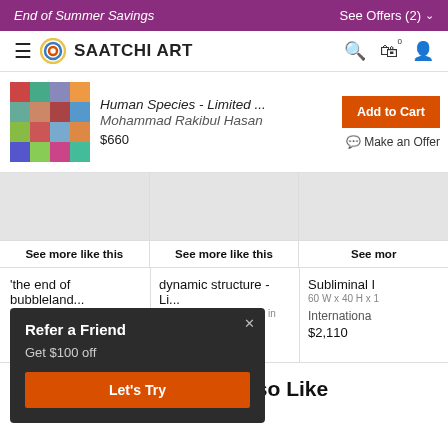End of Summer Savings    See Offers (2)
[Figure (logo): Saatchi Art logo with navigation icons]
[Figure (photo): Thumbnail of artwork 'Human Species - Limited...' by Mohammad Rakibul Hasan]
Human Species - Limited ...
Mohammad Rakibul Hasan
$660
Add to Cart
Make an Offer
See more like this
See more like this
See more
'the end of bubbleland...
38 W x 23.3 H x 0.3 D in
dynamic structure - Li...
29.5 W x 19.7 H x 0.2 D in
Thomas Prill
$280
Subliminal I
60 W x 40 H x 1
International
$2,110
Refer a Friend
Get $100 off
Let's Try
Photography You May Also Like